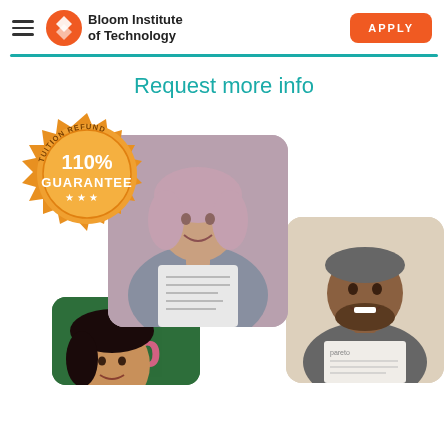Bloom Institute of Technology | APPLY
Request more info
[Figure (photo): Tuition Refund 110% Guarantee badge (orange/gold seal) overlapping photo of smiling woman holding a letter/document, plus photo of smiling man holding a document, plus partial photo of smiling woman at bottom left]
[Figure (logo): Bloom Institute of Technology logo - orange diamond/gear icon with company name]